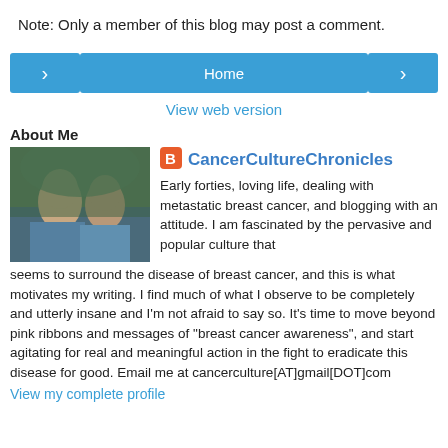Note: Only a member of this blog may post a comment.
[Figure (other): Navigation buttons row: left arrow button, Home button, right arrow button]
View web version
About Me
[Figure (photo): Profile photo showing two people outdoors]
CancerCultureChronicles
Early forties, loving life, dealing with metastatic breast cancer, and blogging with an attitude. I am fascinated by the pervasive and popular culture that seems to surround the disease of breast cancer, and this is what motivates my writing. I find much of what I observe to be completely and utterly insane and I'm not afraid to say so. It's time to move beyond pink ribbons and messages of "breast cancer awareness", and start agitating for real and meaningful action in the fight to eradicate this disease for good. Email me at cancerculture[AT]gmail[DOT]com
View my complete profile